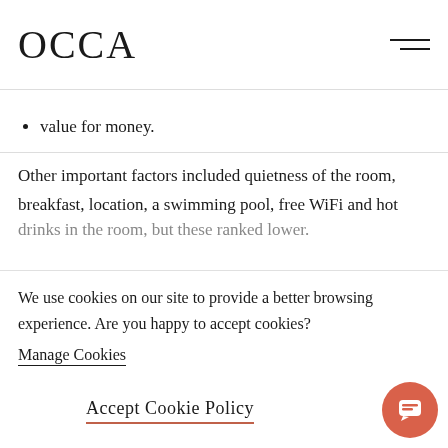staff friendliness
OCCA
value for money.
Other important factors included quietness of the room, breakfast, location, a swimming pool, free WiFi and hot drinks in the room, but these ranked lower.
We use cookies on our site to provide a better browsing experience. Are you happy to accept cookies?
Manage Cookies
Accept Cookie Policy